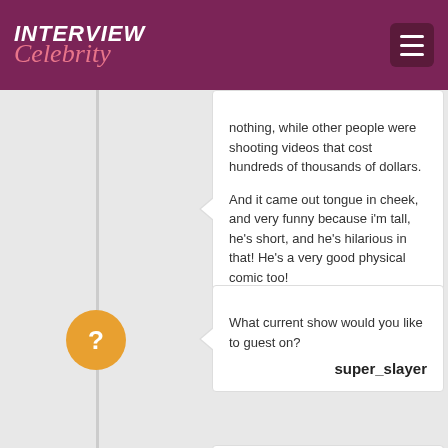INTERVIEW Celebrity
nothing, while other people were shooting videos that cost hundreds of thousands of dollars.
And it came out tongue in cheek, and very funny because i'm tall, he's short, and he's hilarious in that! He's a very good physical comic too!
Chevy Chase
What current show would you like to guest on?
super_slayer
Game of Thrones!
Chevy Chase